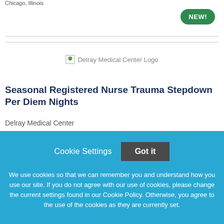Chicago, Illinois
[Figure (logo): Delray Medical Center Logo — broken image placeholder with green dot, alt text 'Delray Medical Center Logo']
Seasonal Registered Nurse Trauma Stepdown Per Diem Nights
Delray Medical Center
Cookie Settings   Got it
We use cookies so that we can remember you and understand how you use our site. If you do not agree with our use of cookies, please change the current settings found in our Cookie Policy. Otherwise, you agree to the use of the cookies as they are currently set.